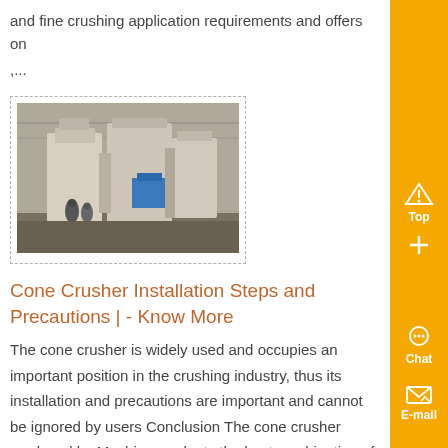and fine crushing application requirements and offers on
,...
[Figure (photo): Industrial cone crusher machinery inside a warehouse/factory setting, showing large white/grey crushing equipment with blue accents and workers nearby.]
Cone Crusher Installation Steps and Precautions | - Know More
The cone crusher is widely used and occupies an important position in the crushing industry, thus its installation and precautions are important and cannot be ignored by users Conclusion The cone crusher produced by Machinery adopts the best combination of crushing frequency and eccentricity, which makes the material to be fine crushed well...